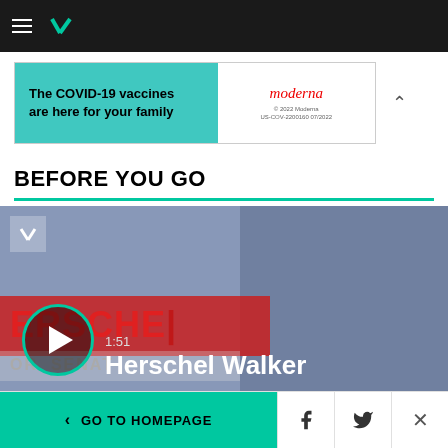HuffPost navigation bar with hamburger menu and logo
[Figure (advertisement): Moderna COVID-19 vaccine ad banner: 'The COVID-19 vaccines are here for your family' on teal background with Moderna logo on white background]
BEFORE YOU GO
[Figure (screenshot): Video thumbnail showing Herschel Walker at a campaign event with 'HERSCHEL FOR SENATE' signage in red letters. Duration 1:51. Play button overlay. Title: Herschel Walker]
< GO TO HOMEPAGE | Facebook share | Twitter share | Close